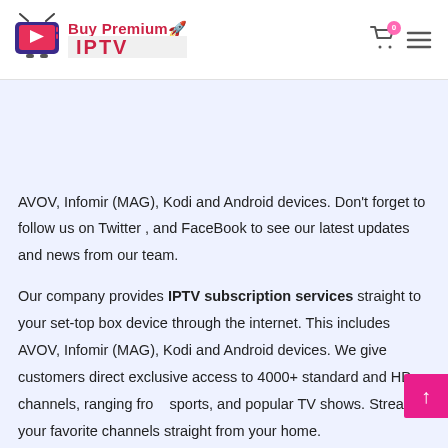Buy Premium IPTV
AVOV, Infomir (MAG), Kodi and Android devices. Don't forget to follow us on Twitter , and FaceBook to see our latest updates and news from our team.
Our company provides IPTV subscription services straight to your set-top box device through the internet. This includes AVOV, Infomir (MAG), Kodi and Android devices. We give customers direct exclusive access to 4000+ standard and HD channels, ranging from sports, and popular TV shows. Stream your favorite channels straight from your home.